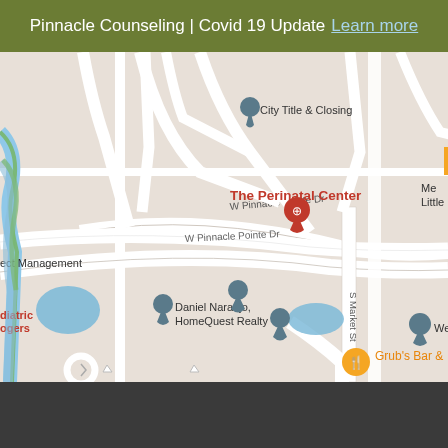Pinnacle Counseling | Covid 19 Update Learn more
[Figure (map): Google Maps screenshot showing the area around The Perinatal Center on W Pinnacle Pointe Dr. Visible landmarks include City Title & Closing, Daniel Naranjo HomeQuest Realty, Wells F (Wells Fargo), Mero Northwest, Grub's Bar &, ect Management, diatric ogers, yenne Products. Streets visible include W Pinnacle Pointe Dr and S Market St. Blue water bodies visible in lower left and center. Map markers in dark teal/slate for most businesses, red for The Perinatal Center and diatric ogers.]